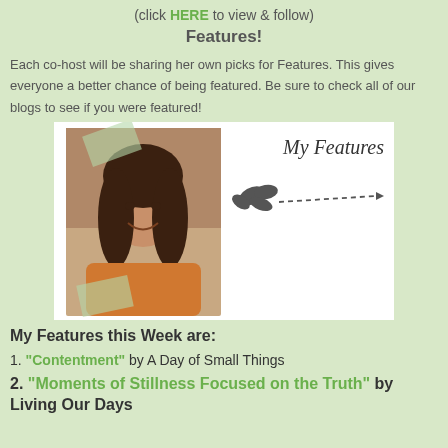(click HERE to view & follow)
Features!
Each co-host will be sharing her own picks for Features. This gives everyone a better chance of being featured. Be sure to check all of our blogs to see if you were featured!
[Figure (photo): Photo of a woman with dark hair smiling, overlaid on a white box with decorative tape and 'My Features' handwritten text with a leaf doodle and dashed arrow.]
My Features this Week are:
1. "Contentment" by A Day of Small Things
2. "Moments of Stillness Focused on the Truth" by Living Our Days